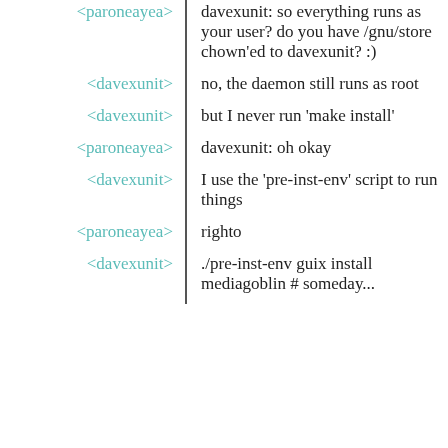<paroneayea> davexunit: so everything runs as your user? do you have /gnu/store chown'ed to davexunit? :)
<davexunit> no, the daemon still runs as root
<davexunit> but I never run 'make install'
<paroneayea> davexunit: oh okay
<davexunit> I use the 'pre-inst-env' script to run things
<paroneayea> righto
<davexunit> ./pre-inst-env guix install mediagoblin # someday...